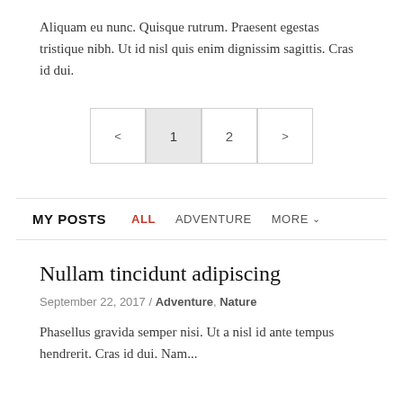Aliquam eu nunc. Quisque rutrum. Praesent egestas tristique nibh. Ut id nisl quis enim dignissim sagittis. Cras id dui.
[Figure (other): Pagination control with previous arrow, page 1 (active/highlighted), page 2, and next arrow buttons]
MY POSTS  ALL  ADVENTURE  MORE
Nullam tincidunt adipiscing
September 22, 2017 / Adventure, Nature
Phasellus gravida semper nisi. Ut a nisl id ante tempus hendrerit. Cras id dui. Nam...